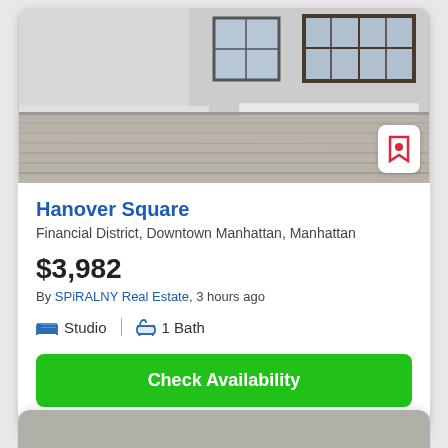[Figure (photo): Interior photo of an empty apartment room with grey hardwood floors, white walls, and windows with dark frames.]
Hanover Square
Financial District, Downtown Manhattan, Manhattan
$3,982
By SPiRALNY Real Estate, 3 hours ago
Studio  |  1 Bath
Check Availability